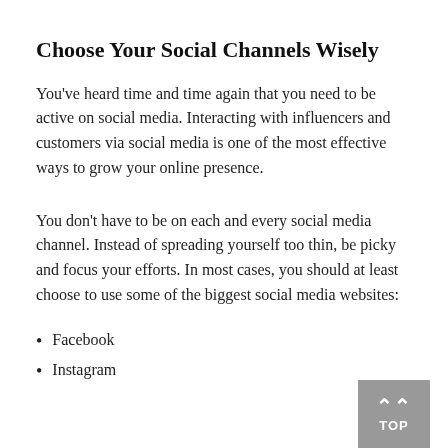Choose Your Social Channels Wisely
You've heard time and time again that you need to be active on social media. Interacting with influencers and customers via social media is one of the most effective ways to grow your online presence.
You don't have to be on each and every social media channel. Instead of spreading yourself too thin, be picky and focus your efforts. In most cases, you should at least choose to use some of the biggest social media websites:
Facebook
Instagram